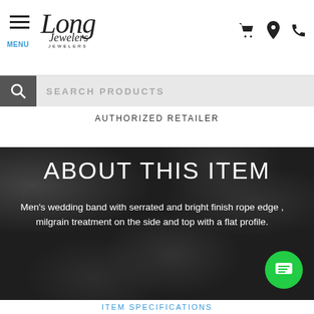MENU | Long Jewelers
SEARCH PRODUCTS
AUTHORIZED RETAILER
[Figure (screenshot): Dark background section with jewelry rings and gems photo background]
ABOUT THIS ITEM
Men's wedding band with serrated and bright finish rope edge , milgrain treatment on the side and top with a flat profile.
ITEM SPECIFICATIONS